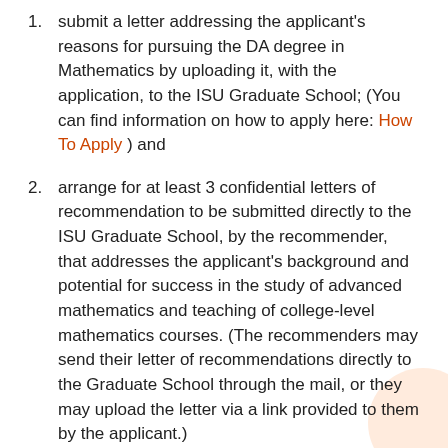submit a letter addressing the applicant's reasons for pursuing the DA degree in Mathematics by uploading it, with the application, to the ISU Graduate School; (You can find information on how to apply here: How To Apply ) and
arrange for at least 3 confidential letters of recommendation to be submitted directly to the ISU Graduate School, by the recommender, that addresses the applicant's background and potential for success in the study of advanced mathematics and teaching of college-level mathematics courses. (The recommenders may send their letter of recommendations directly to the Graduate School through the mail, or they may upload the letter via a link provided to them by the applicant.)